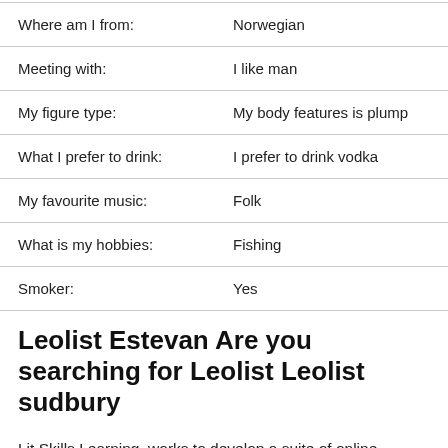| Field | Value |
| --- | --- |
| Where am I from: | Norwegian |
| Meeting with: | I like man |
| My figure type: | My body features is plump |
| What I prefer to drink: | I prefer to drink vodka |
| My favourite music: | Folk |
| What is my hobbies: | Fishing |
| Smoker: | Yes |
Leolist Estevan Are you searching for Leolist Leolist sudbury
Lit Skills Learning, works to develop a suite of online educational resources for parents and teachers to